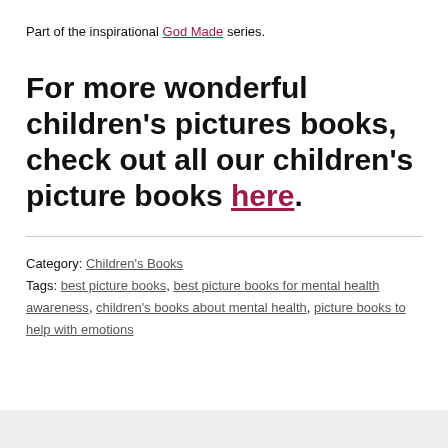Part of the inspirational God Made series.
For more wonderful children's pictures books, check out all our children's picture books here.
Category: Children's Books
Tags: best picture books, best picture books for mental health awareness, children's books about mental health, picture books to help with emotions